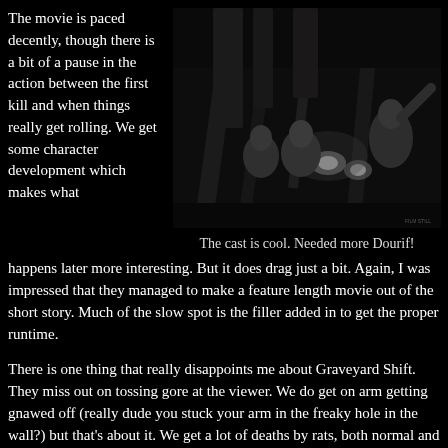The movie is paced decently, though there is a bit of a pause in the action between the first kill and when things really get rolling. We get some character development which makes what happens later more interesting.
[Figure (photo): Black and white film still showing three people in what appears to be a dark, underground or cave-like setting with lights visible in the background.]
The cast is cool. Needed more Dourif!
happens later more interesting. But it does drag just a bit. Again, I was impressed that they managed to make a feature length movie out of the short story. Much of the slow spot is the filler added in to get the proper runtime.
There is one thing that really disappoints me about Graveyard Shift. They miss out on tossing gore at the viewer. We do get on arm getting gnawed off (really dude you stuck your arm in the freaky hole in the wall?) but that's about it. We get a lot of deaths by rats, both normal and supersized, but most of it happens just off screen and we are only treated to sounds and shadows and blood.